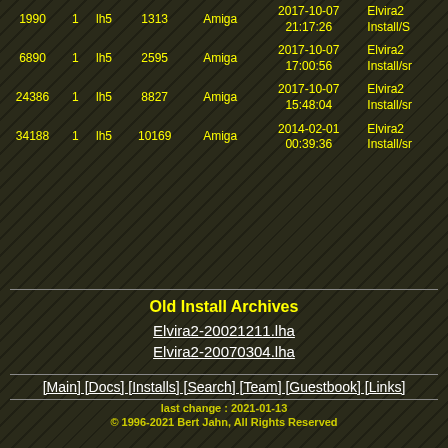| size | ver | method | packed | OS | date/time | name |
| --- | --- | --- | --- | --- | --- | --- |
| 1990 | 1 | lh5 | 1313 | Amiga | 2017-10-07 21:17:26 | Elvira2 Install/S |
| 6890 | 1 | lh5 | 2595 | Amiga | 2017-10-07 17:00:56 | Elvira2 Install/sr |
| 24386 | 1 | lh5 | 8827 | Amiga | 2017-10-07 15:48:04 | Elvira2 Install/sr |
| 34188 | 1 | lh5 | 10169 | Amiga | 2014-02-01 00:39:36 | Elvira2 Install/sr |
Old Install Archives
Elvira2-20021211.lha
Elvira2-20070304.lha
[Main] [Docs] [Installs] [Search] [Team] [Guestbook] [Links]
last change : 2021-01-13
© 1996-2021 Bert Jahn, All Rights Reserved